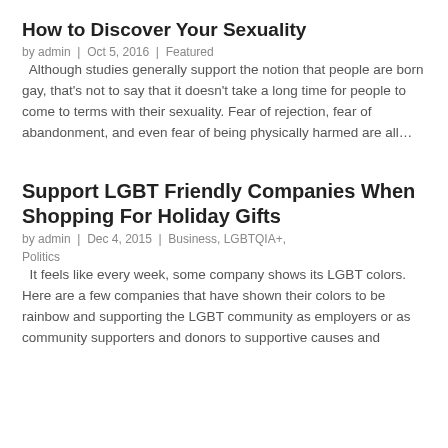How to Discover Your Sexuality
by admin | Oct 5, 2016 | Featured
Although studies generally support the notion that people are born gay, that’s not to say that it doesn’t take a long time for people to come to terms with their sexuality. Fear of rejection, fear of abandonment, and even fear of being physically harmed are all…
Support LGBT Friendly Companies When Shopping For Holiday Gifts
by admin | Dec 4, 2015 | Business, LGBTQIA+, Politics
It feels like every week, some company shows its LGBT colors. Here are a few companies that have shown their colors to be rainbow and supporting the LGBT community as employers or as community supporters and donors to supportive causes and